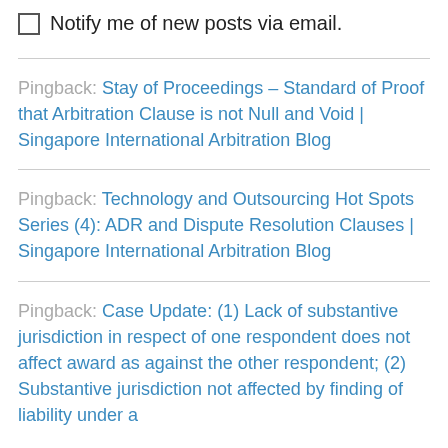Notify me of new posts via email.
Pingback: Stay of Proceedings – Standard of Proof that Arbitration Clause is not Null and Void | Singapore International Arbitration Blog
Pingback: Technology and Outsourcing Hot Spots Series (4): ADR and Dispute Resolution Clauses | Singapore International Arbitration Blog
Pingback: Case Update: (1) Lack of substantive jurisdiction in respect of one respondent does not affect award as against the other respondent; (2) Substantive jurisdiction not affected by finding of liability under a